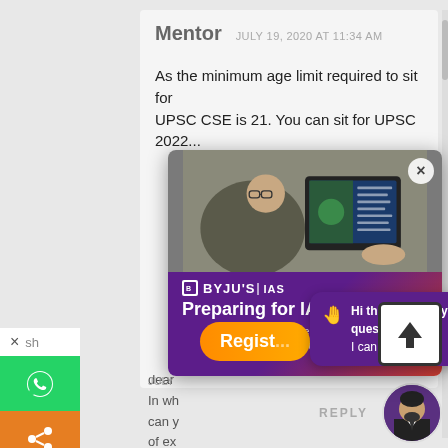Mentor   JULY 19, 2020 AT 11:34 AM
As the minimum age limit required to sit for UPSC CSE is 21. You can sit for UPSC 2022...
[Figure (screenshot): BYJU'S IAS advertisement modal overlay showing a person holding a tablet with video content, purple gradient background, 'Preparing for IAS? 100+ hours of Free Prep Material on History, Polity & more!' text, and a Register button]
Hi there! Got any questions? I can help you...
REPLY